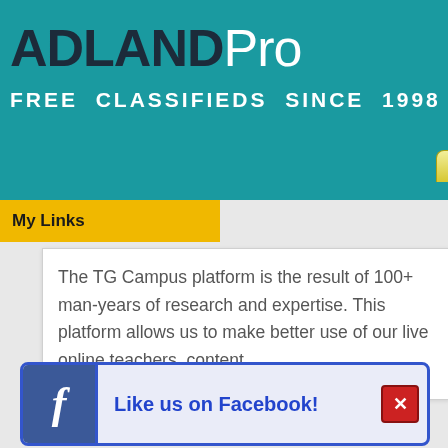ADLANDPro FREE CLASSIFIEDS SINCE 1998
My Links
The TG Campus platform is the result of 100+ man-years of research and expertise. This platform allows us to make better use of our live online teachers, content,
[Figure (screenshot): Facebook Like us on Facebook widget with Facebook icon and close button]